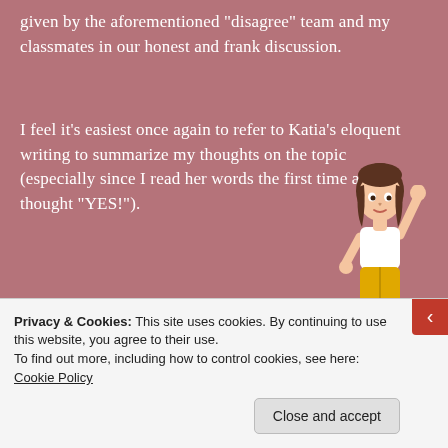given by the aforementioned “disagree” team and my classmates in our honest and frank discussion.
I feel it’s easiest once again to refer to Katia’s eloquent writing to summarize my thoughts on the topic (especially since I read her words the first time and thought “YES!”).
[Figure (illustration): Animated avatar/bitmoji of a woman with brown hair, white top, and yellow pants, with one arm raised]
So why does all of this matter? To be clear, there are many reasons why the nature of
Privacy & Cookies: This site uses cookies. By continuing to use this website, you agree to their use.
To find out more, including how to control cookies, see here: Cookie Policy